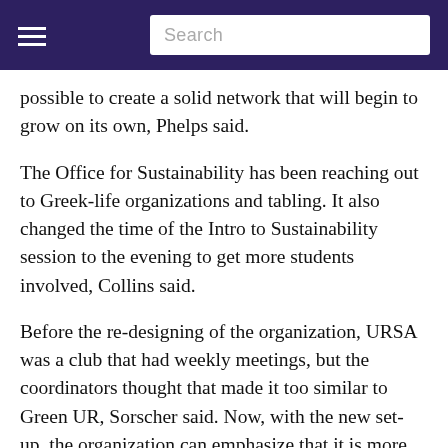Search
possible to create a solid network that will begin to grow on its own, Phelps said.
The Office for Sustainability has been reaching out to Greek-life organizations and tabling. It also changed the time of the Intro to Sustainability session to the evening to get more students involved, Collins said.
Before the re-designing of the organization, URSA was a club that had weekly meetings, but the coordinators thought that made it too similar to Green UR, Sorscher said. Now, with the new set-up, the organization can emphasize that it is more like sustainability advocates on campus who are promoting better habits and raising awareness on campus, Sorscher said.
“It is a very dynamic set-up right now,” Phelps said. “We’re